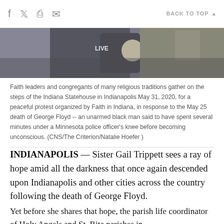f  [twitter]  [print]  [email]   BACK TO TOP ▲
[Figure (photo): Photo of faith leaders and congregants gathered, one wearing a vest with 'LIVE' visible, at the Indiana Statehouse steps]
Faith leaders and congregants of many religious traditions gather on the steps of the Indiana Statehouse in Indianapolis May 31, 2020, for a peaceful protest organized by Faith in Indiana, in response to the May 25 death of George Floyd -- an unarmed black man said to have spent several minutes under a Minnesota police officer's knee before becoming unconscious. (CNS/The Criterion/Natalie Hoefer )
INDIANAPOLIS — Sister Gail Trippett sees a ray of hope amid all the darkness that once again descended upon Indianapolis and other cities across the country following the death of George Floyd.
Yet before she shares that hope, the parish life coordinator of Holy Angels and St. Rita parishes in